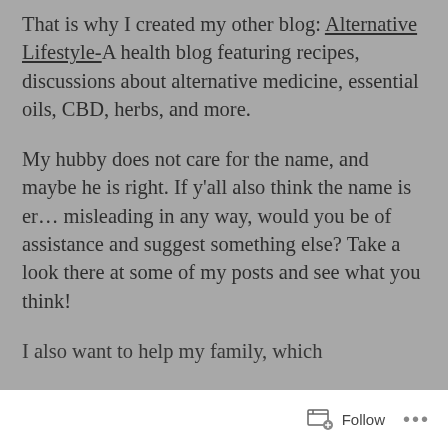That is why I created my other blog: Alternative Lifestyle-A health blog featuring recipes, discussions about alternative medicine, essential oils, CBD, herbs, and more.
My hubby does not care for the name, and maybe he is right. If y’all also think the name is er… misleading in any way, would you be of assistance and suggest something else? Take a look there at some of my posts and see what you think!
I also want to help my family, which
Follow ...